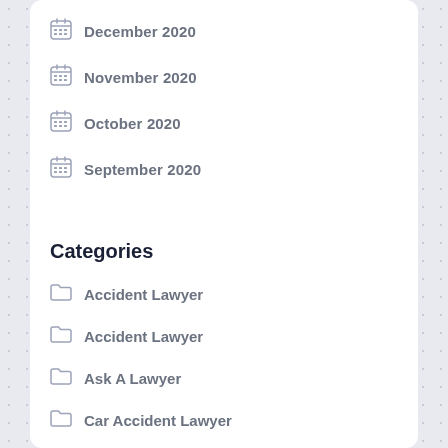December 2020
November 2020
October 2020
September 2020
Categories
Accident Lawyer
Accident Lawyer
Ask A Lawyer
Car Accident Lawyer
Car Accident Lawyer